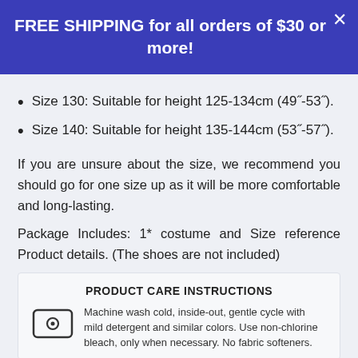FREE SHIPPING for all orders of $30 or more!
Size 130: Suitable for height 125-134cm (49"-53").
Size 140: Suitable for height 135-144cm (53"-57").
If you are unsure about the size, we recommend you should go for one size up as it will be more comfortable and long-lasting.
Package Includes: 1* costume and Size reference Product details. (The shoes are not included)
PRODUCT CARE INSTRUCTIONS
Machine wash cold, inside-out, gentle cycle with mild detergent and similar colors. Use non-chlorine bleach, only when necessary. No fabric softeners.